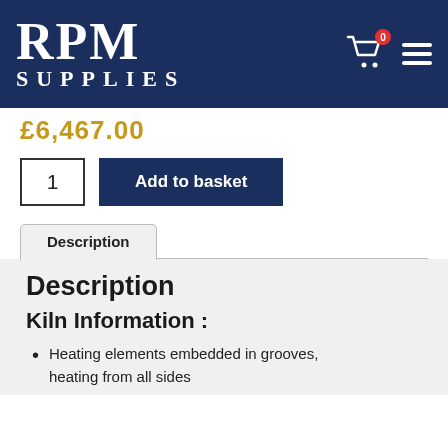RPM SUPPLIES
£6,467.00
1  Add to basket
Description
Description
Kiln Information :
Heating elements embedded in grooves, heating from all sides